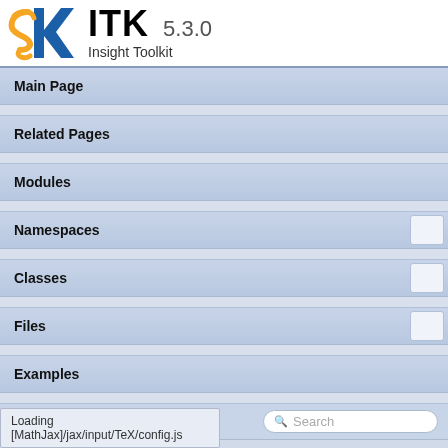[Figure (logo): ITK Insight Toolkit logo with orange and blue swirl graphic, text 'ITK 5.3.0' and 'Insight Toolkit']
Main Page
Related Pages
Modules
Namespaces
Classes
Files
Examples
Search
itk > PowellOptimizerv4
Public Types | Public Member Functions | Static Public Member Functions | Protected Member Functions |